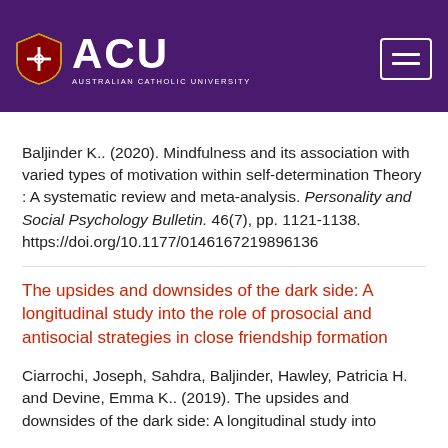[Figure (logo): Australian Catholic University (ACU) logo with shield emblem on purple background header with hamburger menu icon]
Baljinder K.. (2020). Mindfulness and its association with varied types of motivation within self-determination Theory : A systematic review and meta-analysis. Personality and Social Psychology Bulletin. 46(7), pp. 1121-1138. https://doi.org/10.1177/0146167219896136
The upsides and downsides of the dark side: A longitudinal study into the role of prosocial and antisocial strategies in close friendship formation
Ciarrochi, Joseph, Sahdra, Baljinder, Hawley, Patricia H. and Devine, Emma K.. (2019). The upsides and downsides of the dark side: A longitudinal study into the role of prosocial and antisocial strategies in close friendship formation